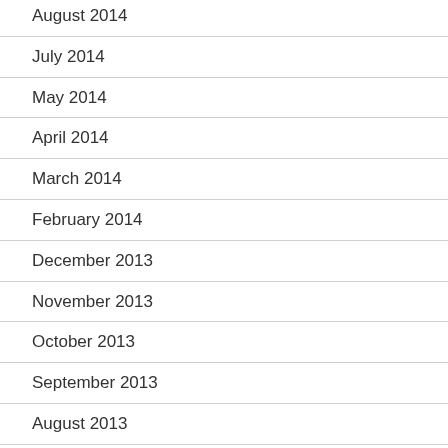August 2014
July 2014
May 2014
April 2014
March 2014
February 2014
December 2013
November 2013
October 2013
September 2013
August 2013